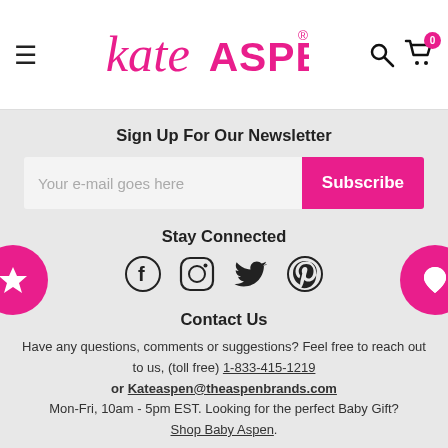Kate Aspen — navigation bar with hamburger menu, logo, search and cart icons
Sign Up For Our Newsletter
Your e-mail goes here  [Subscribe button]
Stay Connected
[Figure (infographic): Social media icons: Facebook, Instagram, Twitter, Pinterest]
Contact Us
Have any questions, comments or suggestions? Feel free to reach out to us, (toll free) 1-833-415-1219 or Kateaspen@theaspenbrands.com Mon-Fri, 10am - 5pm EST. Looking for the perfect Baby Gift? Shop Baby Aspen.